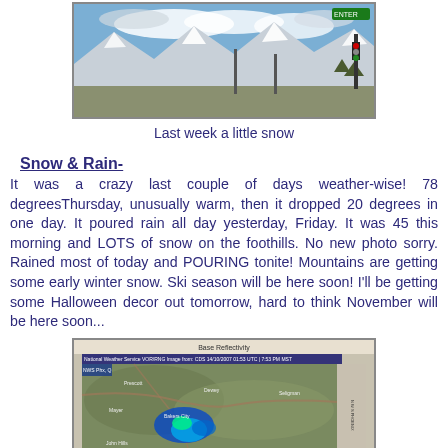[Figure (photo): Photograph of snow-covered mountains/foothills with a street sign visible in the upper right corner, blue sky with clouds above.]
Last week a little snow
Snow & Rain-
It was a crazy last couple of days weather-wise! 78 degreesThursday, unusually warm, then it dropped 20 degrees in one day. It poured rain all day yesterday, Friday. It was 45 this morning and LOTS of snow on the foothills. No new photo sorry. Rained most of today and POURING tonite! Mountains are getting some early winter snow. Ski season will be here soon! I'll be getting some Halloween decor out tomorrow, hard to think November will be here soon...
[Figure (map): NEXRAD Base Reflectivity radar map showing precipitation over a mountainous region, with blue and green radar returns indicating rain/snow. National Weather Service image.]